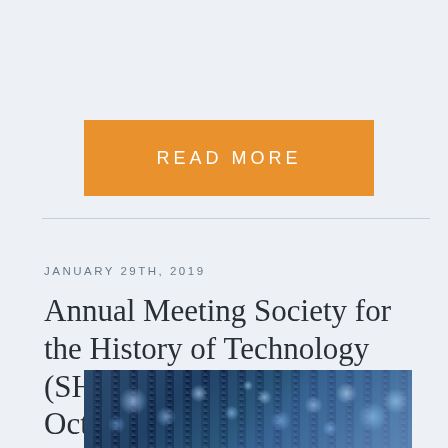READ MORE
JANUARY 29TH, 2019
Annual Meeting Society for the History of Technology (SHOT): Milan, Italy 24–27 October 2019 – Call for Proposals
[Figure (photo): Close-up macro photo of a blue circuit board with electronic components and solder points, blurred background]